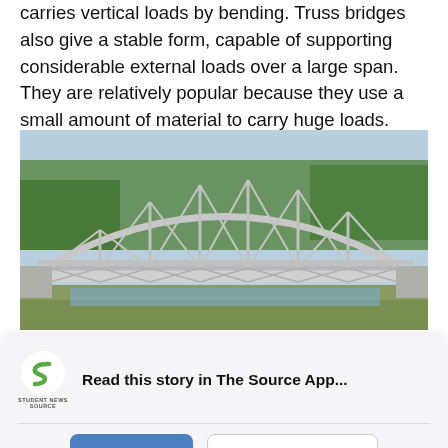carries vertical loads by bending. Truss bridges also give a stable form, capable of supporting considerable external loads over a large span. They are relatively popular because they use a small amount of material to carry huge loads.
[Figure (photo): Photograph of a steel truss bridge with an arched top chord, spanning over a waterway. The bridge features an elaborate lattice of steel members. Green trees are visible in the background.]
Read this story in The Source App...
Open App   Continue in browser